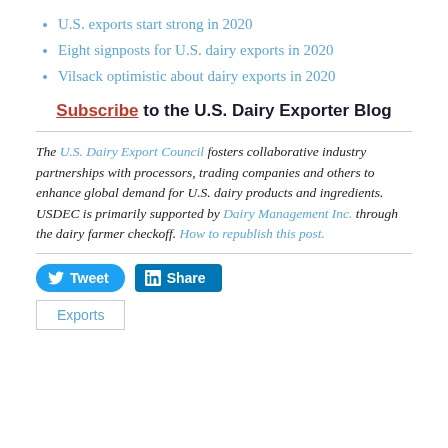U.S. exports start strong in 2020
Eight signposts for U.S. dairy exports in 2020
Vilsack optimistic about dairy exports in 2020
Subscribe to the U.S. Dairy Exporter Blog
The U.S. Dairy Export Council fosters collaborative industry partnerships with processors, trading companies and others to enhance global demand for U.S. dairy products and ingredients. USDEC is primarily supported by Dairy Management Inc. through the dairy farmer checkoff. How to republish this post.
Tweet Share
Exports